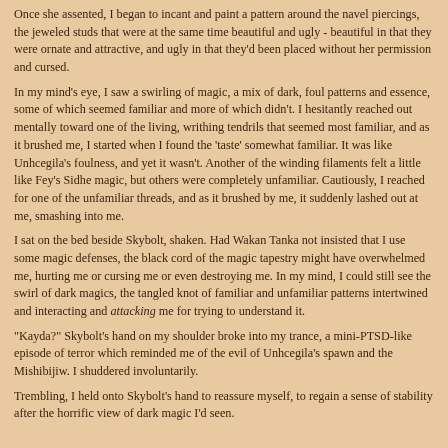Once she assented, I began to incant and paint a pattern around the navel piercings, the jeweled studs that were at the same time beautiful and ugly - beautiful in that they were ornate and attractive, and ugly in that they'd been placed without her permission and cursed.
In my mind's eye, I saw a swirling of magic, a mix of dark, foul patterns and essence, some of which seemed familiar and more of which didn't. I hesitantly reached out mentally toward one of the living, writhing tendrils that seemed most familiar, and as it brushed me, I started when I found the 'taste' somewhat familiar. It was like Unhcegila's foulness, and yet it wasn't. Another of the winding filaments felt a little like Fey's Sidhe magic, but others were completely unfamiliar. Cautiously, I reached for one of the unfamiliar threads, and as it brushed by me, it suddenly lashed out at me, smashing into me.
I sat on the bed beside Skybolt, shaken. Had Wakan Tanka not insisted that I use some magic defenses, the black cord of the magic tapestry might have overwhelmed me, hurting me or cursing me or even destroying me. In my mind, I could still see the swirl of dark magics, the tangled knot of familiar and unfamiliar patterns intertwined and interacting and attacking me for trying to understand it.
"Kayda?" Skybolt's hand on my shoulder broke into my trance, a mini-PTSD-like episode of terror which reminded me of the evil of Unhcegila's spawn and the Mishibijiw. I shuddered involuntarily.
Trembling, I held onto Skybolt's hand to reassure myself, to regain a sense of stability after the horrific view of dark magic I'd seen.